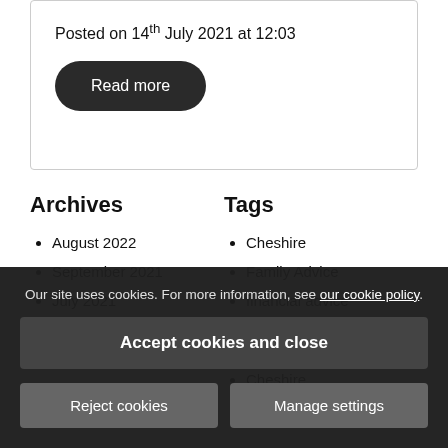Posted on 14th July 2021 at 12:03
Read more
Archives
August 2022
September 2021
July 2021
Tags
Cheshire
Family Advice
financial advice
Financial Advice Cheshire
Cheshire
Our site uses cookies. For more information, see our cookie policy.
Accept cookies and close
Reject cookies
Manage settings